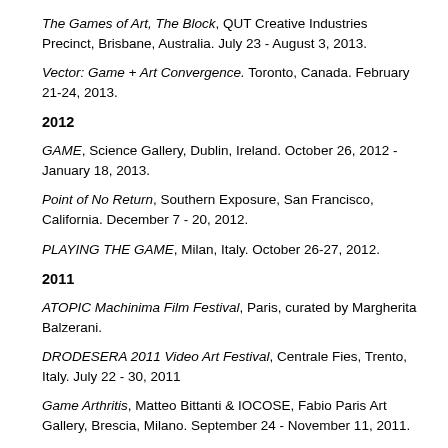The Games of Art, The Block, QUT Creative Industries Precinct, Brisbane, Australia. July 23 - August 3, 2013.
Vector: Game + Art Convergence. Toronto, Canada. February 21-24, 2013.
2012
GAME, Science Gallery, Dublin, Ireland. October 26, 2012 - January 18, 2013.
Point of No Return, Southern Exposure, San Francisco, California. December 7 - 20, 2012.
PLAYING THE GAME, Milan, Italy. October 26-27, 2012.
2011
ATOPIC Machinima Film Festival, Paris, curated by Margherita Balzerani.
DRODESERA 2011 Video Art Festival, Centrale Fies, Trento, Italy. July 22 - 30, 2011
Game Arthritis, Matteo Bittanti & IOCOSE, Fabio Paris Art Gallery, Brescia, Milano. September 24 - November 11, 2011.